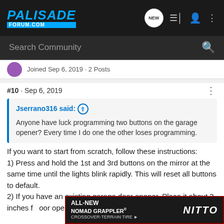PALISADE FORUM.COM
Search Community
Joined Sep 6, 2019 · 2 Posts
#10 · Sep 6, 2019
Jserrano316 said: ↑
Anyone have luck programming two buttons on the garage opener? Every time I do one the other loses programming.
If you want to start from scratch, follow these instructions:
1) Press and hold the 1st and 3rd buttons on the mirror at the same time until the lights blink rapidly. This will reset all buttons to default.
2) If you have an existing garage door opener. Place it about 3 inches f...oor opener...me time...
[Figure (advertisement): Nitto ALL-NEW NOMAD GRAPPLER CROSSOVER-TERRAIN TIRE advertisement with vehicle tire image]